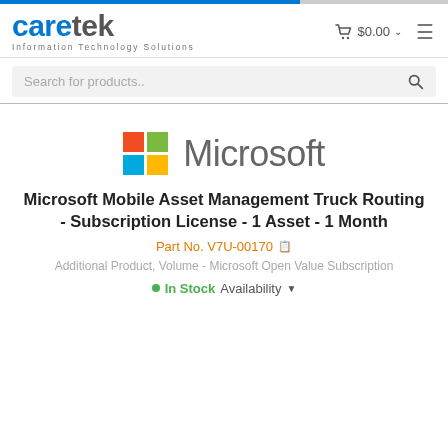[Figure (logo): Caretek Information Technology Solutions logo with blue 'care' and grey 'tek' text]
[Figure (logo): Microsoft logo with four colored squares (red, green, blue, yellow) and grey Microsoft wordmark]
Microsoft Mobile Asset Management Truck Routing - Subscription License - 1 Asset - 1 Month
Part No. V7U-00170
Additional Product, Volume - Microsoft Open Value Subscription
In Stock Availability